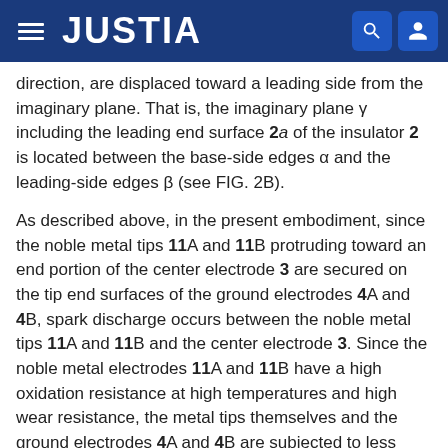JUSTIA
direction, are displaced toward a leading side from the imaginary plane. That is, the imaginary plane γ including the leading end surface 2a of the insulator 2 is located between the base-side edges α and the leading-side edges β (see FIG. 2B).
As described above, in the present embodiment, since the noble metal tips 11A and 11B protruding toward an end portion of the center electrode 3 are secured on the tip end surfaces of the ground electrodes 4A and 4B, spark discharge occurs between the noble metal tips 11A and 11B and the center electrode 3. Since the noble metal electrodes 11A and 11B have a high oxidation resistance at high temperatures and high wear resistance, the metal tips themselves and the ground electrodes 4A and 4B are subjected to less wear, and sufficient durability is achieved. Since the spark discharge occurs, this leads the surface areas is applied...